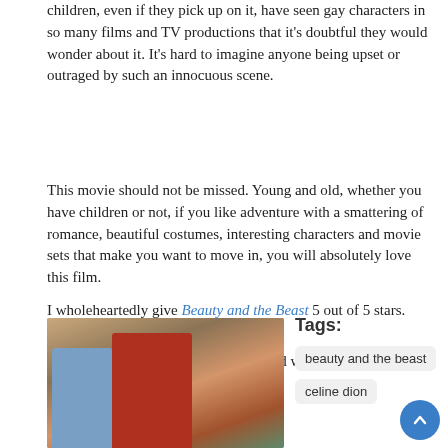children, even if they pick up on it, have seen gay characters in so many films and TV productions that it's doubtful they would wonder about it. It's hard to imagine anyone being upset or outraged by such an innocuous scene.
This movie should not be missed. Young and old, whether you have children or not, if you like adventure with a smattering of romance, beautiful costumes, interesting characters and movie sets that make you want to move in, you will absolutely love this film.
I wholeheartedly give Beauty and the Beast 5 out of 5 stars.
If you've seen Beauty and the Beast and would like to rate/review it, please click here.
[Figure (photo): Scene from Beauty and the Beast showing two characters in period costumes in a village marketplace]
Tags:
beauty and the beast
celine dion